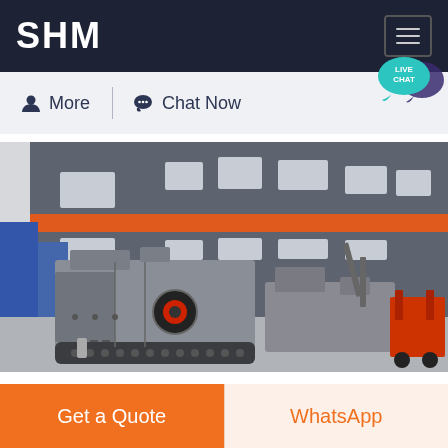SHM
More  |  Chat Now
[Figure (photo): Industrial heavy machinery (likely a mobile crusher or screening plant) parked outside a large industrial warehouse building with gray walls and orange horizontal stripe accents.]
Get a Quote
WhatsApp